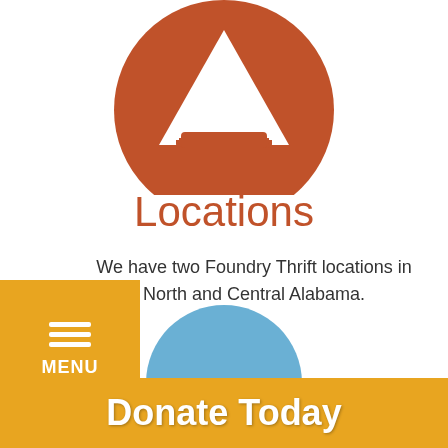[Figure (logo): Foundry Thrift logo — rust/terracotta colored circle with a white mountain/triangle icon inside, partially cropped at top]
Locations
We have two Foundry Thrift locations in North and Central Alabama.
[Figure (other): Yellow/gold hamburger menu button with three horizontal white lines and MENU label below]
Cullman
[Figure (other): Blue circle partially visible at bottom of page, cropped]
Donate Today